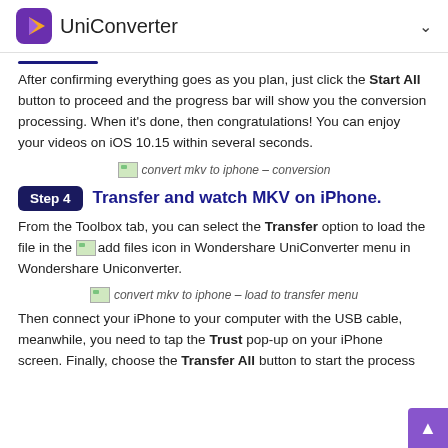UniConverter
After confirming everything goes as you plan, just click the Start All button to proceed and the progress bar will show you the conversion processing. When it’s done, then congratulations! You can enjoy your videos on iOS 10.15 within several seconds.
[Figure (screenshot): convert mkv to iphone – conversion]
Step 4  Transfer and watch MKV on iPhone.
From the Toolbox tab, you can select the Transfer option to load the file in the add files icon in Wondershare UniConverter menu in Wondershare Uniconverter.
[Figure (screenshot): convert mkv to iphone – load to transfer menu]
Then connect your iPhone to your computer with the USB cable, meanwhile, you need to tap the Trust pop-up on your iPhone screen. Finally, choose the Transfer All button to start the process